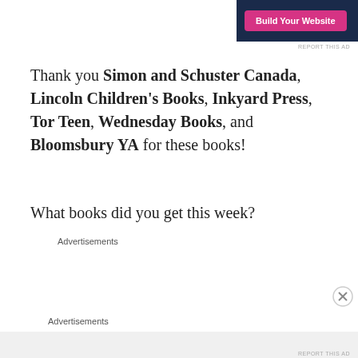[Figure (screenshot): WordPress.com advertisement banner: pink 'Build Your Website' button on dark navy background with WordPress logo and 'WordPress.com' text]
Thank you Simon and Schuster Canada, Lincoln Children's Books, Inkyard Press, Tor Teen, Wednesday Books, and Bloomsbury YA for these books!
What books did you get this week?
Advertisements
[Figure (screenshot): Jetpack advertisement banner: green background with Jetpack logo icon and 'Jetpack' text in white]
Advertisements